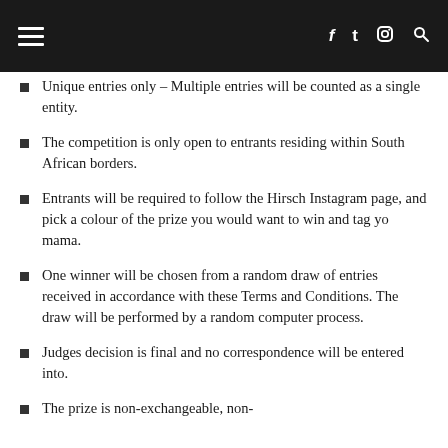Navigation header with hamburger menu and social icons (Facebook, Twitter, Instagram, Search)
Unique entries only – Multiple entries will be counted as a single entity.
The competition is only open to entrants residing within South African borders.
Entrants will be required to follow the Hirsch Instagram page, and pick a colour of the prize you would want to win and tag yo mama.
One winner will be chosen from a random draw of entries received in accordance with these Terms and Conditions. The draw will be performed by a random computer process.
Judges decision is final and no correspondence will be entered into.
The prize is non-exchangeable, non-